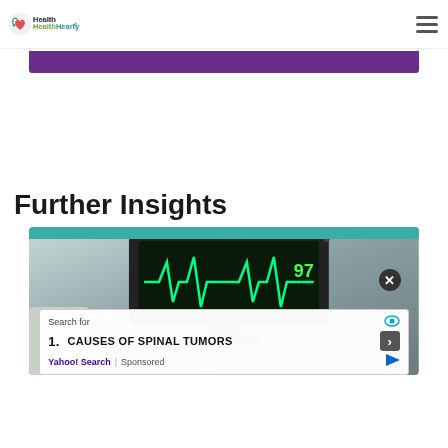HealthHearty
[Figure (illustration): Purple banner bar beneath the header navigation]
[Figure (photo): Medical monitor displaying ECG/heart rate waveform with a digital readout showing 97, overlaid with an advertisement for 'Causes of Spinal Tumors' from Yahoo! Search (Sponsored)]
Further Insights